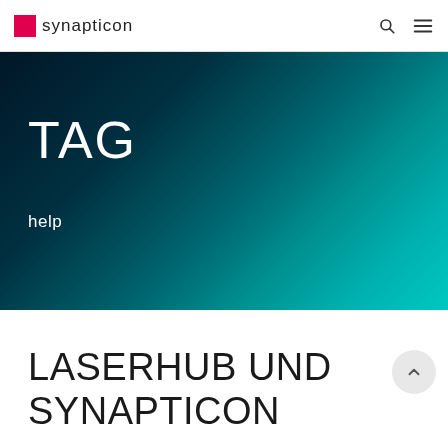synapticon
TAG
help
LASERHUB UND SYNAPTICON